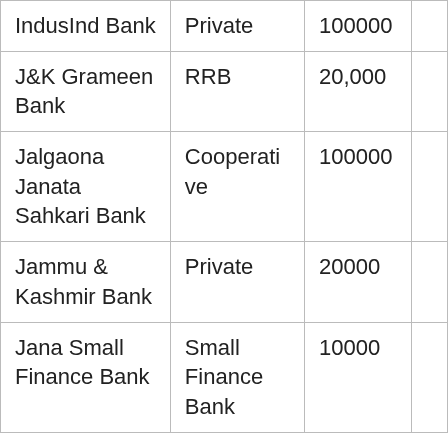| IndusInd Bank | Private | 100000 |  |
| J&K Grameen Bank | RRB | 20,000 |  |
| Jalgaona Janata Sahkari Bank | Cooperative | 100000 |  |
| Jammu & Kashmir Bank | Private | 20000 |  |
| Jana Small Finance Bank | Small Finance Bank | 10000 |  |